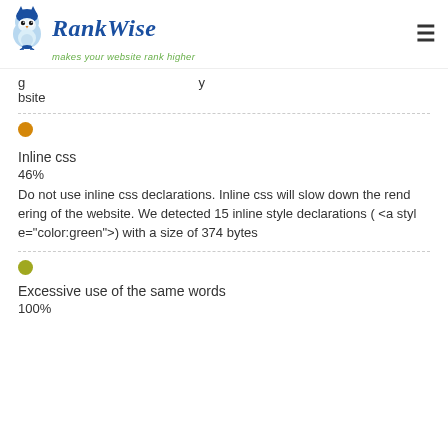RankWise — makes your website rank higher
bsite
Inline css — 46% — Do not use inline css declarations. Inline css will slow down the rendering of the website. We detected 15 inline style declarations ( <a style="color:green">) with a size of 374 bytes
Excessive use of the same words — 100%